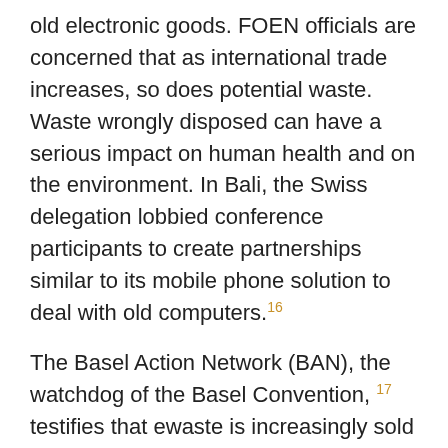old electronic goods. FOEN officials are concerned that as international trade increases, so does potential waste. Waste wrongly disposed can have a serious impact on human health and on the environment. In Bali, the Swiss delegation lobbied conference participants to create partnerships similar to its mobile phone solution to deal with old computers.[16]
The Basel Action Network (BAN), the watchdog of the Basel Convention, [17] testifies that ewaste is increasingly sold and exported from rich countries to developing ones for socalled "reuse". But the stock is often beyond use or repair and is in reality "escrap". This ends up being dumped and burned, with serious impacts on the environment and health and...